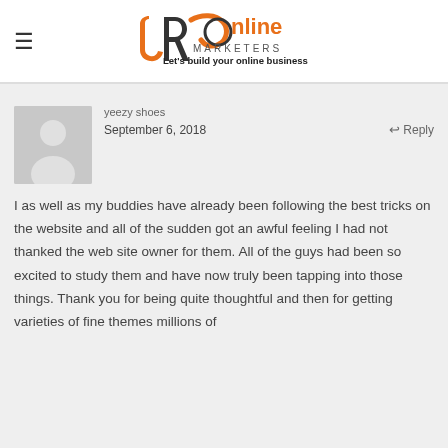[Figure (logo): JR Online Marketers logo with tagline 'Let's build your online business']
yeezy shoes
September 6, 2018
Reply
I as well as my buddies have already been following the best tricks on the website and all of the sudden got an awful feeling I had not thanked the web site owner for them. All of the guys had been so excited to study them and have now truly been tapping into those things. Thank you for being quite thoughtful and then for getting varieties of fine themes millions of